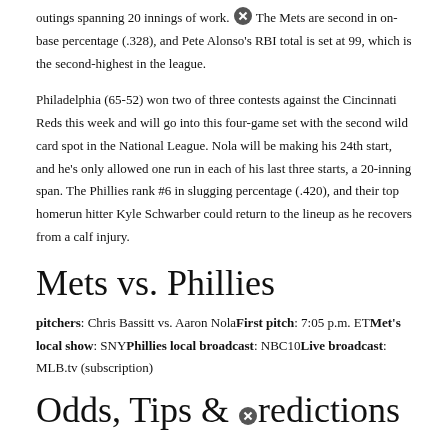outings spanning 20 innings of work. The Mets are second in on-base percentage (.328), and Pete Alonso's RBI total is set at 99, which is the second-highest in the league.
Philadelphia (65-52) won two of three contests against the Cincinnati Reds this week and will go into this four-game set with the second wild card spot in the National League. Nola will be making his 24th start, and he's only allowed one run in each of his last three starts, a 20-inning span. The Phillies rank #6 in slugging percentage (.420), and their top homerun hitter Kyle Schwarber could return to the lineup as he recovers from a calf injury.
Mets vs. Phillies
pitchers: Chris Bassitt vs. Aaron NolaFirst pitch: 7:05 p.m. ETMet's local show: SNYPhillies local broadcast: NBC10Live broadcast: MLB.tv (subscription)
Odds, Tips & Predictions